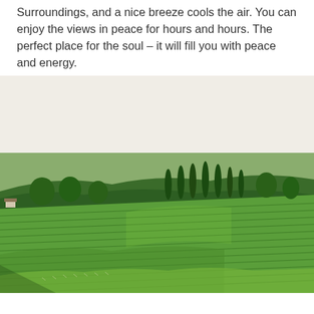Surroundings, and a nice breeze cools the air. You can enjoy the views in peace for hours and hours. The perfect place for the soul – it will fill you with peace and energy.
[Figure (photo): Aerial view of lush green vineyard hills with rows of vines covering rolling slopes, tall cypress trees in the background, and blue-green hills in the distance under a hazy sky.]